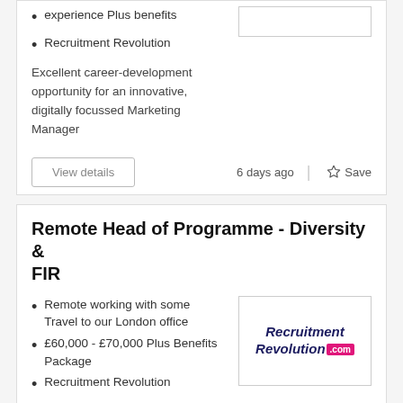experience Plus benefits
Recruitment Revolution
Excellent career-development opportunity for an innovative, digitally focussed Marketing Manager
6 days ago
Remote Head of Programme - Diversity & FIR
Remote working with some Travel to our London office
£60,000 - £70,000 Plus Benefits Package
Recruitment Revolution
[Figure (logo): Recruitment Revolution .com logo in navy italic text with pink .com badge]
Do you have a successful track record of leading initiatives to create cultural change and improvement? Are you…